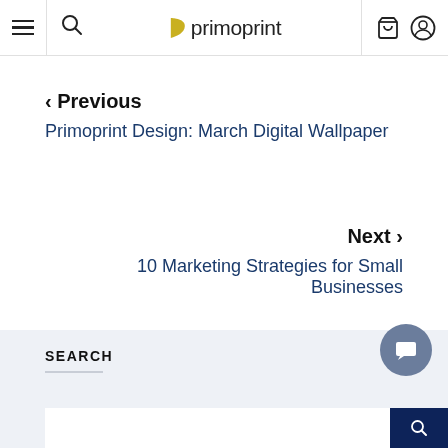primoprint
< Previous
Primoprint Design: March Digital Wallpaper
Next >
10 Marketing Strategies for Small Businesses
SEARCH